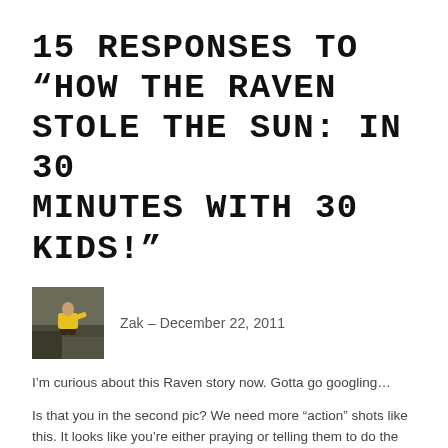15 RESPONSES TO “HOW THE RAVEN STOLE THE SUN: IN 30 MINUTES WITH 30 KIDS!”
[Figure (photo): Small avatar photo of a person in a yellow jacket sitting on a ledge outdoors, dark rocky background]
Zak – December 22, 2011
I’m curious about this Raven story now. Gotta go googling…
Is that you in the second pic? We need more “action” shots like this. It looks like you’re either praying or telling them to do the wave. Love it!